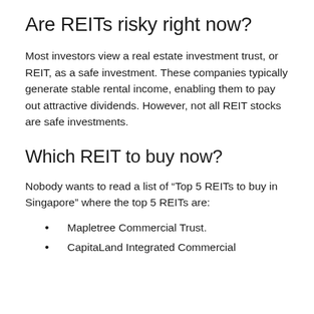Are REITs risky right now?
Most investors view a real estate investment trust, or REIT, as a safe investment. These companies typically generate stable rental income, enabling them to pay out attractive dividends. However, not all REIT stocks are safe investments.
Which REIT to buy now?
Nobody wants to read a list of “Top 5 REITs to buy in Singapore” where the top 5 REITs are:
Mapletree Commercial Trust.
CapitaLand Integrated Commercial